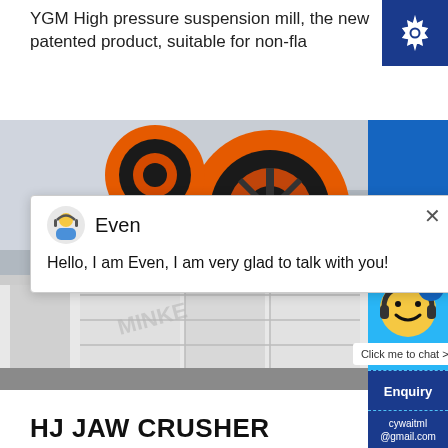YGM High pressure suspension mill, the new patented product, suitable for non-fla
[Figure (photo): Industrial manufacturing facility showing large orange and black pulley/wheel machinery and white industrial equipment (jaw crusher) on a factory floor]
Even
Hello, I am Even, I am very glad to talk with you!
[Figure (screenshot): Live chat widget with smiley face avatar, badge showing 1 unread message, and 'Click me to chat' button on blue background]
Enquiry
cywaitml@gmail.com
HJ JAW CRUSHER